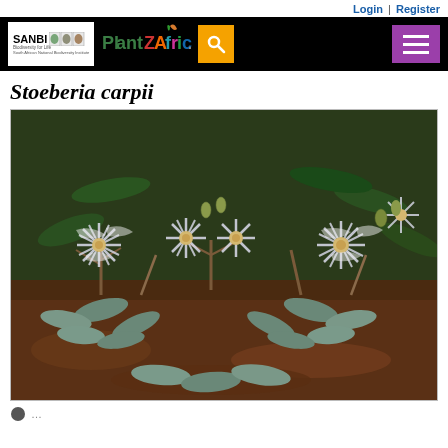Login | Register
[Figure (logo): SANBI PlantZAfrica.com navigation header with search and hamburger menu]
Stoeberia carpii
[Figure (photo): Photograph of Stoeberia carpii plant showing white fluffy flowers with yellow centers and blue-green succulent leaves on a reddish-brown rocky/soil ground]